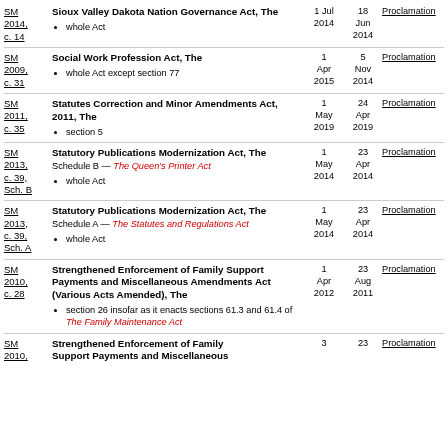| Reference | Act | In Force | Proclaimed | Type |
| --- | --- | --- | --- | --- |
| SM 2014, c. 14 | Sioux Valley Dakota Nation Governance Act, The
• whole Act | 1 Jul 2014 | 18 Jun 2014 | Proclamation |
| SM 2009, c. 31 | Social Work Profession Act, The
• whole Act except section 77 | 1 Apr 2015 | 5 Nov 2014 | Proclamation |
| SM 2011, c. 35 | Statutes Correction and Minor Amendments Act, 2011, The
• section 5 | 1 May 2019 | 24 Apr 2019 | Proclamation |
| SM 2013, c. 39, Sch. B | Statutory Publications Modernization Act, The
Schedule B — The Queen's Printer Act
• whole Act | 1 May 2014 | 23 Apr 2014 | Proclamation |
| SM 2013, c. 39, Sch. A | Statutory Publications Modernization Act, The
Schedule A — The Statutes and Regulations Act
• whole Act | 1 May 2014 | 23 Apr 2014 | Proclamation |
| SM 2010, c. 28 | Strengthened Enforcement of Family Support Payments and Miscellaneous Amendments Act (Various Acts Amended), The
• section 26 insofar as it enacts sections 61.3 and 61.4 of The Family Maintenance Act | 1 Apr 2012 | 23 Aug 2011 | Proclamation |
| SM 2010 | Strengthened Enforcement of Family Support Payments and Miscellaneous... | 3 | 23 | Proclamation |